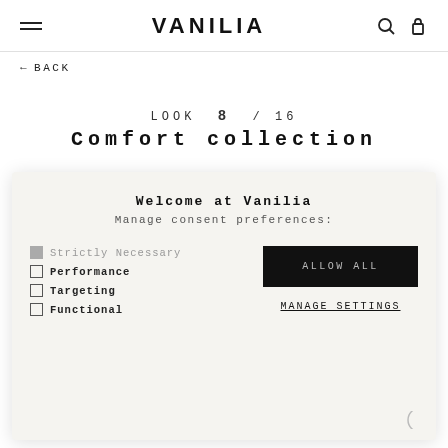VANILIA
← BACK
LOOK 8 / 16
Comfort collection
Welcome at Vanilia
Manage consent preferences:
Strictly Necessary
Performance
Targeting
Functional
ALLOW ALL
MANAGE SETTINGS